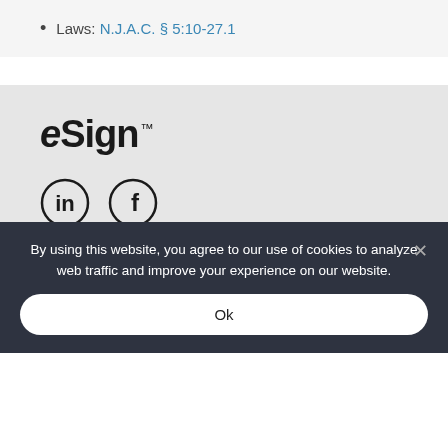Laws: N.J.A.C. § 5:10-27.1
[Figure (logo): eSign trademark logo with TM mark, LinkedIn and Facebook social media icons below]
Product
By using this website, you agree to our use of cookies to analyze web traffic and improve your experience on our website.
Ok